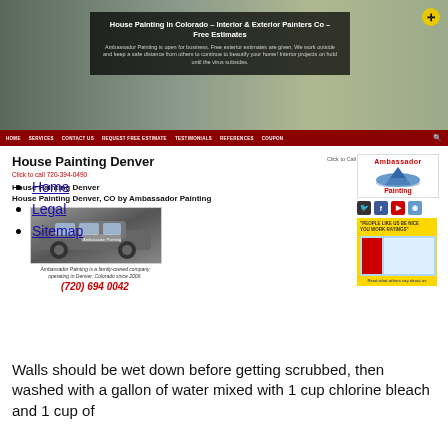[Figure (screenshot): Hero banner image showing a house exterior with semi-transparent overlay containing title and description text]
House Painting In Colorado – Interior & Exterior Painters Co – Free Estimates. Ambassador Painting is open for business. Free exterior estimates are given. We work outside and keep a safe distance from others to continue to beautify your home! Interior projects on hold until the virus subsides.
HOME  SERVICES  CONTACT US  REQUEST FREE ESTIMATE  TESTIMONIALS  REFERENCES  COUPON
House Painting Denver
Click to call 720-394-0490
House Painting Denver
House Painting Denver, CO by Ambassador Painting
[Figure (photo): Ambassador Painting company SUV/crossover vehicle with company logo on door]
Ambassador Painting is a family-owned company operating in Denver, Colorado since 2009.
(720) 694 0042
[Figure (logo): Ambassador Painting logo with mountain illustration and company name]
[Figure (infographic): Social media icons: Twitter, Facebook, YouTube, RSS]
[Figure (infographic): People Like Us Be Nice review panel with rating badge]
Click to Call
Home
Legal
Sitemap
Walls should be wet down before getting scrubbed, then washed with a gallon of water mixed with 1 cup chlorine bleach and 1 cup of